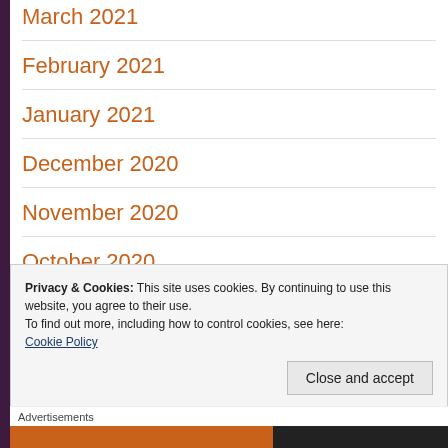March 2021
February 2021
January 2021
December 2020
November 2020
October 2020
Privacy & Cookies: This site uses cookies. By continuing to use this website, you agree to their use.
To find out more, including how to control cookies, see here:
Cookie Policy
Close and accept
Advertisements